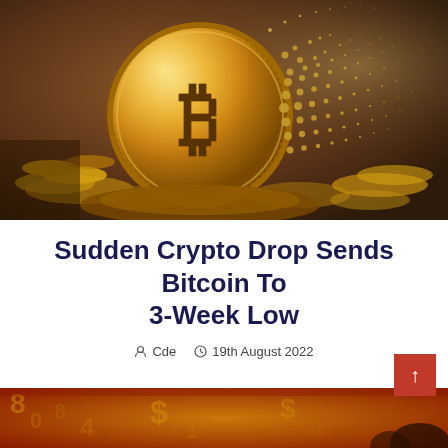[Figure (photo): A gold Bitcoin coin disintegrating into particles, surrounded by other gold coins, symbolizing crypto market decline.]
Sudden Crypto Drop Sends Bitcoin To 3-Week Low
Cde   19th August 2022
[Figure (photo): Partial bottom image showing financial numbers and red/gold colors related to crypto markets.]